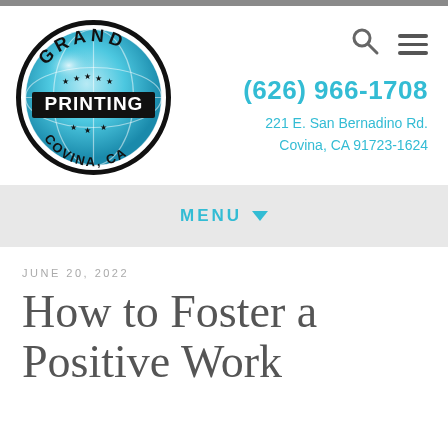[Figure (logo): Grand Printing Covina, CA circular logo with stars and metallic globe design]
(626) 966-1708
221 E. San Bernadino Rd.
Covina, CA 91723-1624
MENU
JUNE 20, 2022
How to Foster a Positive Work